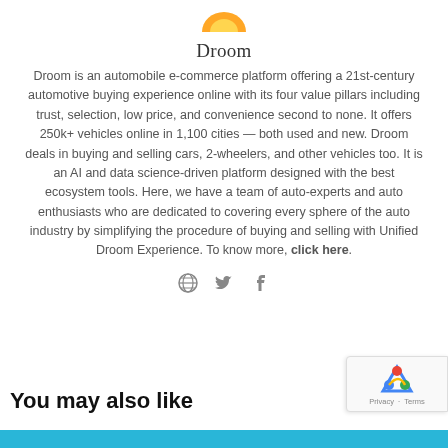[Figure (logo): Droom logo partial circle/orange shape at top center]
Droom
Droom is an automobile e-commerce platform offering a 21st-century automotive buying experience online with its four value pillars including trust, selection, low price, and convenience second to none. It offers 250k+ vehicles online in 1,100 cities — both used and new. Droom deals in buying and selling cars, 2-wheelers, and other vehicles too. It is an AI and data science-driven platform designed with the best ecosystem tools. Here, we have a team of auto-experts and auto enthusiasts who are dedicated to covering every sphere of the auto industry by simplifying the procedure of buying and selling with Unified Droom Experience. To know more, click here.
[Figure (illustration): Social media icons: globe/web, Twitter bird, Facebook f]
You may also like